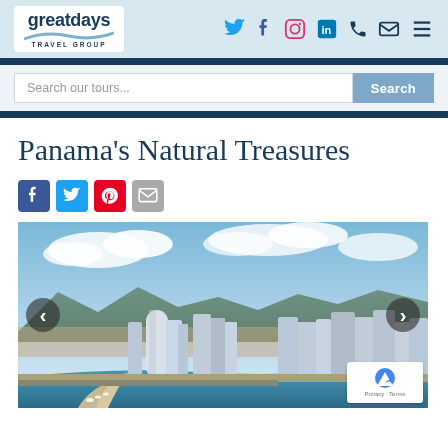greatdays TRAVEL GROUP — header with social icons
Search our tours...
Panama's Natural Treasures
Share icons: Facebook, Twitter, Pinterest, Email
[Figure (photo): Aerial view of Panama City skyline with modern skyscrapers, waterfront marina, bay, and mountains in the background under a partly cloudy sky]